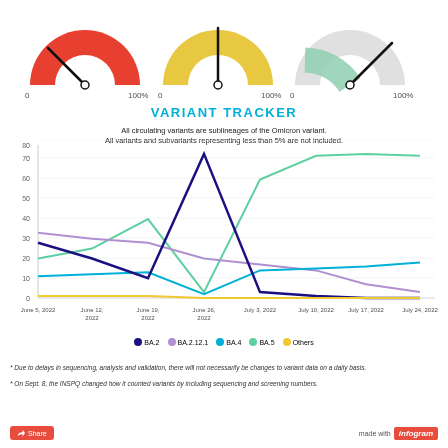[Figure (other): Three gauge/speedometer charts at the top showing different colored arcs (red, yellow, gray/green) with needles, labeled 0 and 100% on each side]
VARIANT TRACKER
All circulating variants are sublineages of the Omicron variant. All variants and subvariants representing less than 5% are not included.
[Figure (line-chart): Variant Tracker]
BA.2  BA.2.12.1  BA.4  BA.5  Others
* Due to delays in sequencing, analysis and validation, there will not necessarily be changes to variant data on a daily basis.
* On Sept. 8, the INSPQ changed how it counted variants by including sequencing and screening numbers.
Share  made with infogram